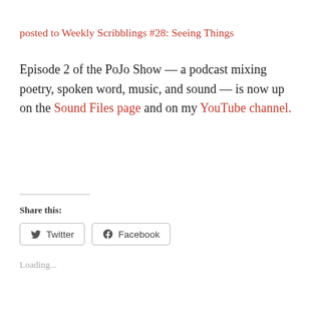posted to Weekly Scribblings #28: Seeing Things
Episode 2 of the PoJo Show — a podcast mixing poetry, spoken word, music, and sound — is now up on the Sound Files page and on my YouTube channel.
Share this:
Loading...